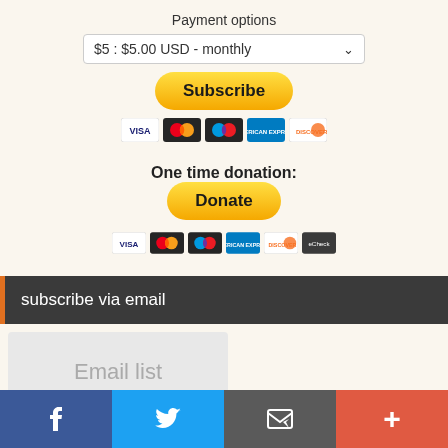Payment options
$5 : $5.00 USD - monthly
[Figure (screenshot): PayPal Subscribe button with golden gradient and rounded corners]
[Figure (screenshot): Credit card icons: Visa, Mastercard, Maestro, American Express, Discover]
One time donation:
[Figure (screenshot): PayPal Donate button with golden gradient and rounded corners]
[Figure (screenshot): Credit card icons: Visa, Mastercard, Maestro, American Express, Discover, and additional card]
subscribe via email
Email list
[Figure (screenshot): Social sharing bottom bar with Facebook, Twitter, email, and plus buttons]